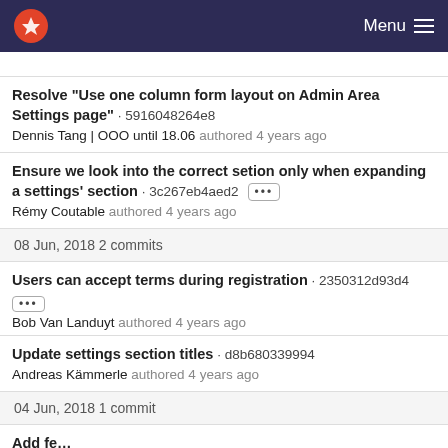Menu
Resolve "Use one column form layout on Admin Area Settings page" · 5916048264e8 Dennis Tang | OOO until 18.06 authored 4 years ago
Ensure we look into the correct setion only when expanding a settings' section · 3c267eb4aed2 Rémy Coutable authored 4 years ago
08 Jun, 2018 2 commits
Users can accept terms during registration · 2350312d93d4 Bob Van Landuyt authored 4 years ago
Update settings section titles · d8b680339994 Andreas Kämmerle authored 4 years ago
04 Jun, 2018 1 commit
Add fe...